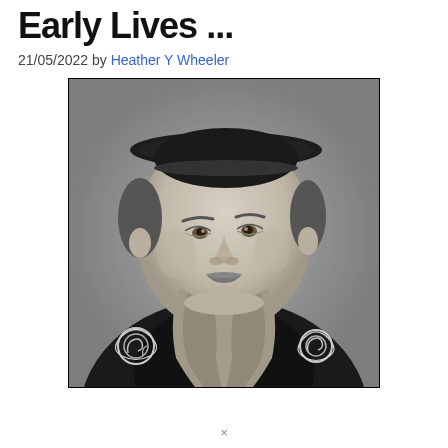Early Lives ...
21/05/2022 by Heather Y Wheeler
[Figure (photo): Black and white engraved portrait of a bearded man wearing a dark coat with ornate embroidery and a small ruffled collar, and a flat dark cap. The man has a long beard and is depicted in a three-quarter view. Style is consistent with 16th-century portraiture.]